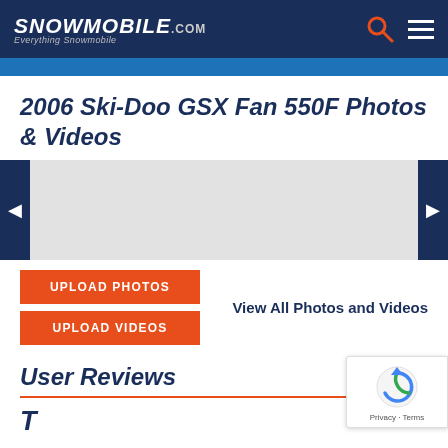Snowmobile.com — Everything Snowmobile
2006 Ski-Doo GSX Fan 550F Photos & Videos
[Figure (photo): Photo gallery slider with left and right navigation arrows and a light gray image area]
UPLOAD PHOTOS
UPLOAD VIDEOS
View All Photos and Videos
User Reviews
[Figure (other): reCAPTCHA badge with refresh icon and Privacy - Terms text]